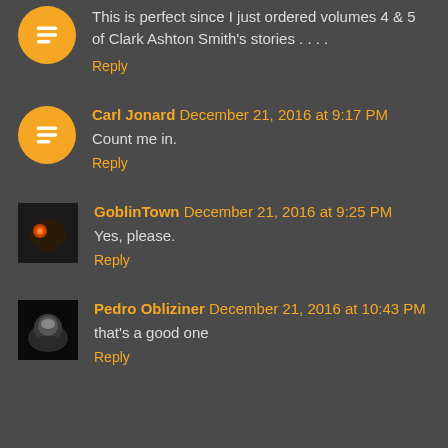This is perfect since I just ordered volumes 4 & 5 of Clark Ashton Smith's stories . . . .
Reply
Carl Jonard  December 21, 2016 at 9:17 PM
Count me in.
Reply
GoblinTown  December 21, 2016 at 9:25 PM
Yes, please.
Reply
Pedro Obliziner  December 21, 2016 at 10:43 PM
that's a good one
Reply